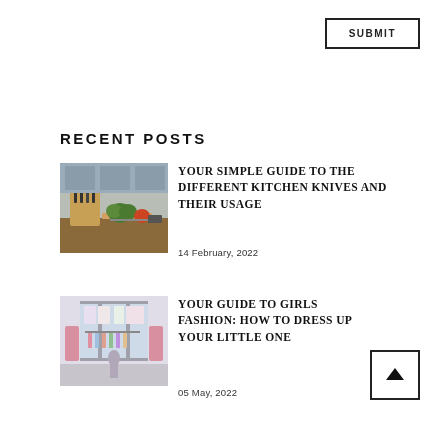SUBMIT
RECENT POSTS
[Figure (photo): Kitchen knives in a wooden block with vegetables on a cutting board]
YOUR SIMPLE GUIDE TO THE DIFFERENT KITCHEN KNIVES AND THEIR USAGE
14 February, 2022
[Figure (photo): Girls fashion store interior with clothing displays]
YOUR GUIDE TO GIRLS FASHION: HOW TO DRESS UP YOUR LITTLE ONE
05 May, 2022